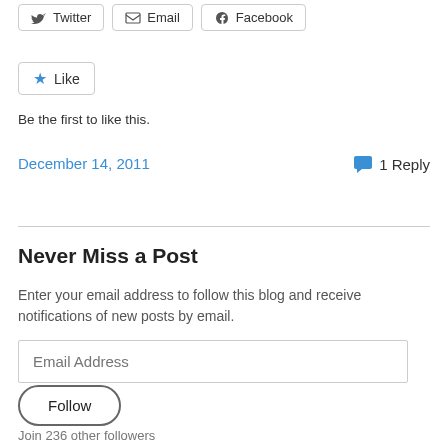[Figure (other): Share buttons: Twitter, Email, Facebook]
[Figure (other): Like button with blue star]
Be the first to like this.
December 14, 2011
1 Reply
Never Miss a Post
Enter your email address to follow this blog and receive notifications of new posts by email.
Email Address
Follow
Join 236 other followers